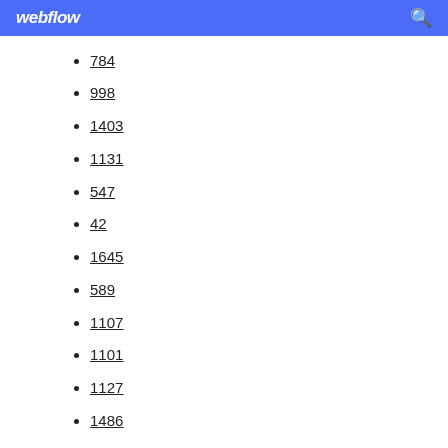webflow
784
998
1403
1131
547
42
1645
589
1107
1101
1127
1486